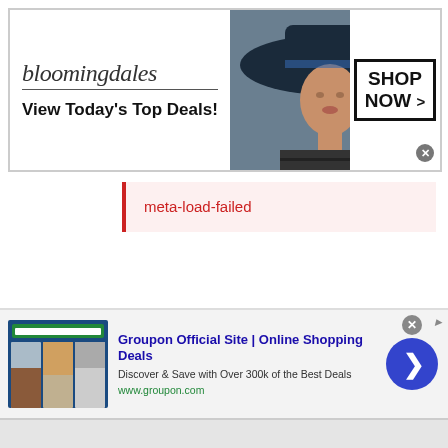[Figure (screenshot): Bloomingdales advertisement banner: logo text 'bloomingdales', tagline 'View Today's Top Deals!', woman in large hat, SHOP NOW button]
meta-load-failed
[Figure (screenshot): Groupon Official Site advertisement: thumbnail of website, title 'Groupon Official Site | Online Shopping Deals', description 'Discover & Save with Over 300k of the Best Deals', URL www.groupon.com, blue circle arrow button]